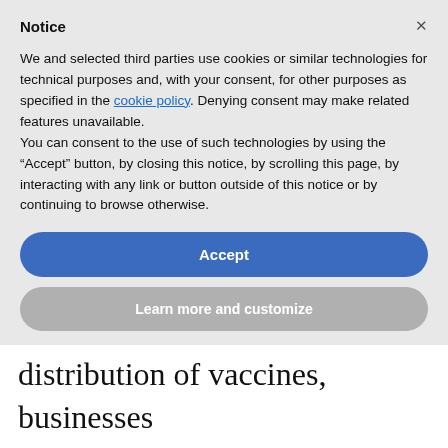Notice
We and selected third parties use cookies or similar technologies for technical purposes and, with your consent, for other purposes as specified in the cookie policy. Denying consent may make related features unavailable.
You can consent to the use of such technologies by using the “Accept” button, by closing this notice, by scrolling this page, by interacting with any link or button outside of this notice or by continuing to browse otherwise.
Accept
Learn more and customize
distribution of vaccines, businesses

need to determine what our post